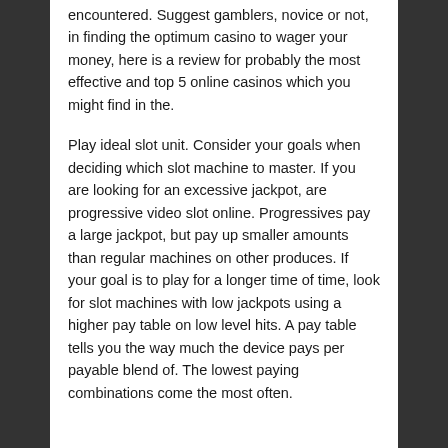encountered. Suggest gamblers, novice or not, in finding the optimum casino to wager your money, here is a review for probably the most effective and top 5 online casinos which you might find in the.
Play ideal slot unit. Consider your goals when deciding which slot machine to master. If you are looking for an excessive jackpot, are progressive video slot online. Progressives pay a large jackpot, but pay up smaller amounts than regular machines on other produces. If your goal is to play for a longer time of time, look for slot machines with low jackpots using a higher pay table on low level hits. A pay table tells you the way much the device pays per payable blend of. The lowest paying combinations come the most often.